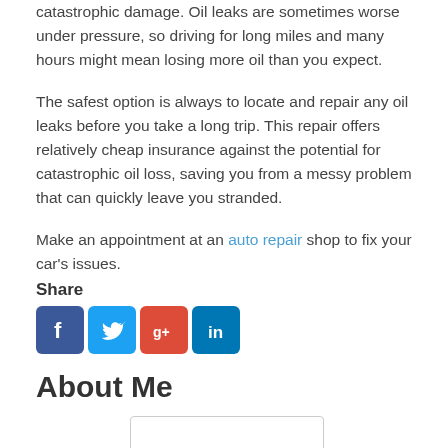catastrophic damage. Oil leaks are sometimes worse under pressure, so driving for long miles and many hours might mean losing more oil than you expect.
The safest option is always to locate and repair any oil leaks before you take a long trip. This repair offers relatively cheap insurance against the potential for catastrophic oil loss, saving you from a messy problem that can quickly leave you stranded.
Make an appointment at an auto repair shop to fix your car’s issues.
Share
[Figure (other): Social media share buttons: Facebook, Twitter, Google+, LinkedIn]
About Me
[Figure (illustration): Profile image placeholder with a stylized blue figure/icon]